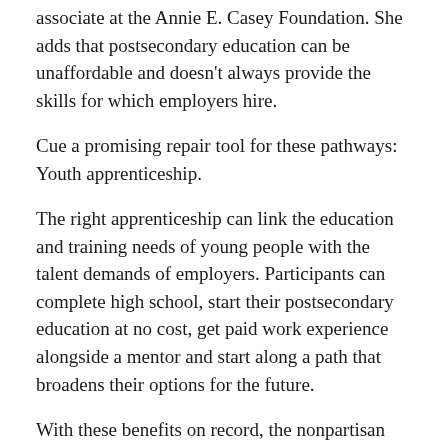associate at the Annie E. Casey Foundation. She adds that postsecondary education can be unaffordable and doesn't always provide the skills for which employers hire.
Cue a promising repair tool for these pathways: Youth apprenticeship.
The right apprenticeship can link the education and training needs of young people with the talent demands of employers. Participants can complete high school, start their postsecondary education at no cost, get paid work experience alongside a mentor and start along a path that broadens their options for the future.
With these benefits on record, the nonpartisan think tank New America has recently launched a multi-year multi-stakeholder initiative called Partnership to Advance Youth Apprenticeship — or PAYA. This Casey-supported effort will promote high-quality apprenticeship opportunities for high school-age